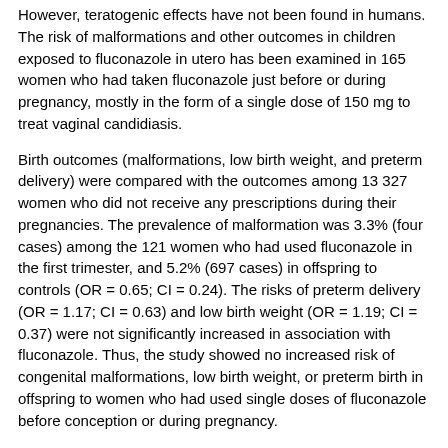However, teratogenic effects have not been found in humans. The risk of malformations and other outcomes in children exposed to fluconazole in utero has been examined in 165 women who had taken fluconazole just before or during pregnancy, mostly in the form of a single dose of 150 mg to treat vaginal candidiasis.
Birth outcomes (malformations, low birth weight, and preterm delivery) were compared with the outcomes among 13 327 women who did not receive any prescriptions during their pregnancies. The prevalence of malformation was 3.3% (four cases) among the 121 women who had used fluconazole in the first trimester, and 5.2% (697 cases) in offspring to controls (OR = 0.65; CI = 0.24). The risks of preterm delivery (OR = 1.17; CI = 0.63) and low birth weight (OR = 1.19; CI = 0.37) were not significantly increased in association with fluconazole. Thus, the study showed no increased risk of congenital malformations, low birth weight, or preterm birth in offspring to women who had used single doses of fluconazole before conception or during pregnancy.
The potential ability of fluconazole to modulate phenytoin teratogenesis has been studied in Swiss mice. Pretreatment with a non-embryotoxic dosage of fluconazole (10 mg) potentiated